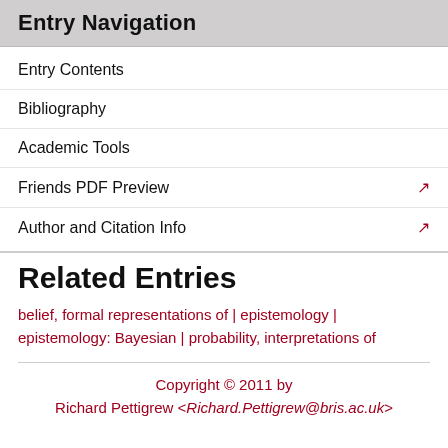Entry Navigation
Entry Contents
Bibliography
Academic Tools
Friends PDF Preview
Author and Citation Info
Related Entries
belief, formal representations of | epistemology | epistemology: Bayesian | probability, interpretations of
Copyright © 2011 by
Richard Pettigrew <Richard.Pettigrew@bris.ac.uk>